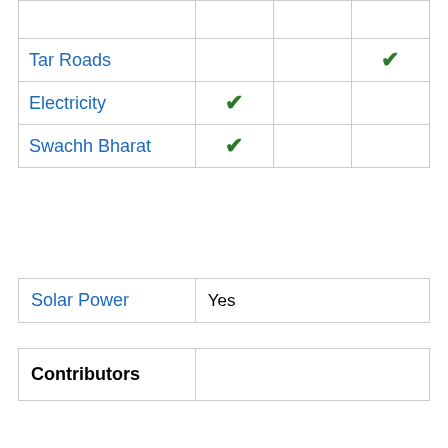|  |  |  |  |
| --- | --- | --- | --- |
| Tar Roads |  |  | ✓ |
| Electricity | ✓ |  |  |
| Swachh Bharat | ✓ |  |  |
| Solar Power | Yes |
| --- | --- |
| Contributors |  |
| --- | --- |
Related Villages
Agarwal Mandi
Alwalpur
Aminagar Sarai
Asara
Asarfabad Thal
Audhapur
Bali